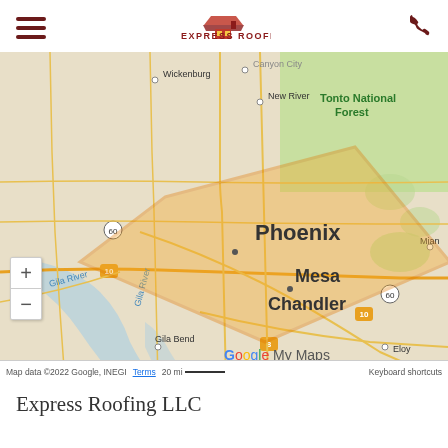Express Roofing - header with hamburger menu, logo, and phone icon
[Figure (map): Google My Maps showing service area of Express Roofing LLC. An orange shaded diamond/polygon covers the Phoenix metropolitan area including Phoenix, Mesa, and Chandler. Surrounding places visible include Wickenburg, Canyon City, New River, Tonto National Forest, Gila River, Gila Bend, Eloy, Marana, and Miami. Route labels include 60, 10, and 8. Map footer shows 'Map data ©2022 Google, INEGI', 'Terms', '20 mi' scale bar, and 'Keyboard shortcuts'.]
Express Roofing LLC